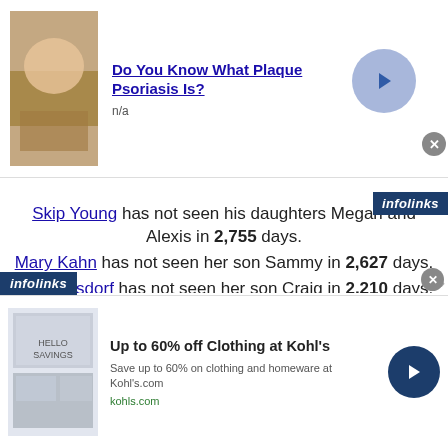[Figure (screenshot): Top advertisement banner: image of skin condition, title 'Do You Know What Plaque Psoriasis Is?', subtitle 'n/a', with blue circle arrow button and close X button. Infolinks badge in top right corner.]
Skip Young has not seen his daughters Megan and Alexis in 2,755 days.
Mary Kahn has not seen her son Sammy in 2,627 days.
Lois Reisdorf has not seen her son Craig in 2,210 days.
Phil and Willie Jones have not seen their son Mike and daughter Emily in 2,705 days.
Mary Jane Barry has not seen her daughter Samantha in 2,959 days.
[Figure (screenshot): Bottom advertisement banner: Kohl's ad, 'Up to 60% off Clothing at Kohl's', 'Save up to 60% on clothing and homeware at Kohls.com', 'kohls.com', with blue circle arrow button and close X button.]